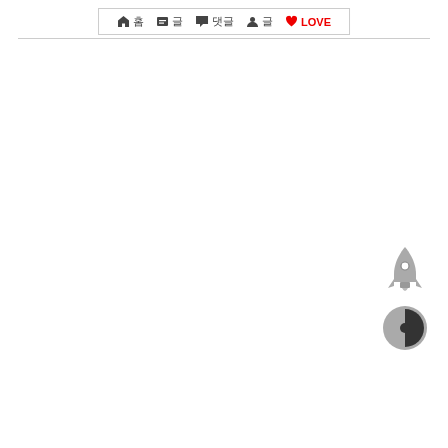🏠 홈  🗂 글  💬 댓글  👤 글  ♥ LOVE
[Figure (illustration): Rocket ship icon in grey, and a contrast/brightness circle icon below it, positioned in the lower right area of the page.]